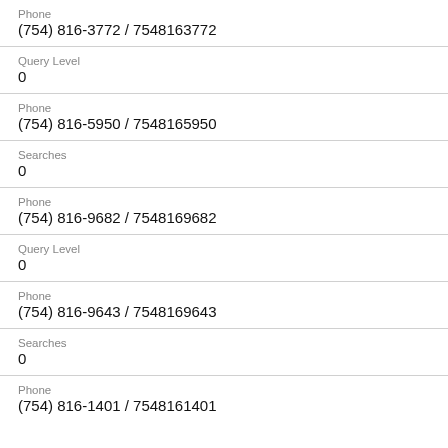Phone
(754) 816-3772 / 7548163772
Query Level
0
Phone
(754) 816-5950 / 7548165950
Searches
0
Phone
(754) 816-9682 / 7548169682
Query Level
0
Phone
(754) 816-9643 / 7548169643
Searches
0
Phone
(754) 816-1401 / 7548161401